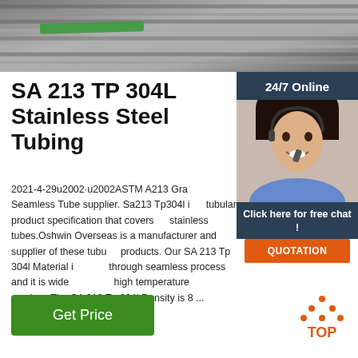[Figure (photo): Close-up photo of stainless steel tubes/coils with a green band visible]
SA 213 TP 304L Stainless Steel Tubing
2021-4-29u2002·u2002ASTM A213 Grade Seamless Tube supplier. Sa213 Tp304l is a tubular product specification that covers stainless tubes.Oshwin Overseas is a manufacturer and supplier of these tubular products. Our SA 213 Tp 304l Material is through seamless process and it is widely used in high temperature services.The SA 213 Tp 304l Density is 8 ...
[Figure (photo): Customer service agent (woman with headset) with 24/7 Online label, Click here for free chat text, and QUOTATION button on dark blue panel]
Get Price
[Figure (other): Orange TOP navigation arrow icon with TOP label]